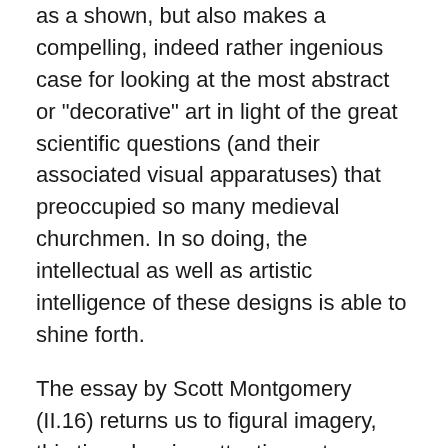as a shown, but also makes a compelling, indeed rather ingenious case for looking at the most abstract or "decorative" art in light of the great scientific questions (and their associated visual apparatuses) that preoccupied so many medieval churchmen. In so doing, the intellectual as well as artistic intelligence of these designs is able to shine forth.
The essay by Scott Montgomery (II.16) returns us to figural imagery, this time drawing attention not so much to openings as to the security represented by closure. His focus is a fourteenth-century relief on Cologne's medieval city wall showing the miraculous defense of the city by its saintly patrons, St. Ursula and her Eleven Thousand Virgin companions (as well some male helpers) during a military skirmish a century earlier. Here we find a vivid demonstration of how images could solidify concepts in real spaces, this time rendering palpable the real presence of the saints in their relics, their active role in protecting the community, and their deep functional connection with the